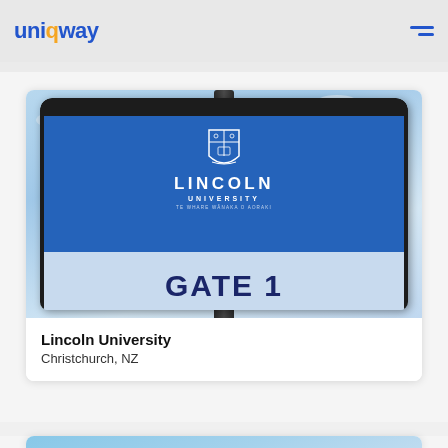uniqway — navigation header
[Figure (photo): Lincoln University Gate 1 sign — a large blue rounded sign with white Lincoln University crest and text reading LINCOLN UNIVERSITY Te Whare Wānaka o Aoraki, and GATE 1 on a lighter blue/white lower section. The sign is mounted on a dark pole against a cloudy sky background.]
Lincoln University
Christchurch, NZ
[Figure (photo): Partial view of AUT (Auckland University of Technology) building with blue signage, partially cut off at bottom of page.]